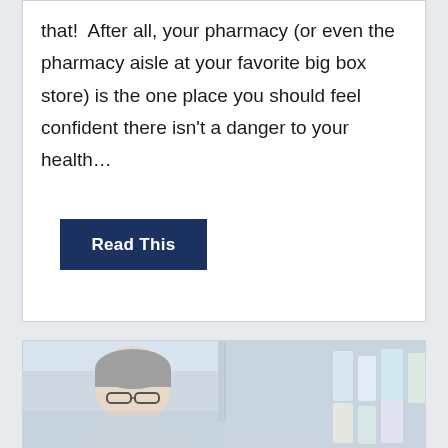that!  After all, your pharmacy (or even the pharmacy aisle at your favorite big box store) is the one place you should feel confident there isn't a danger to your health…
Read This
[Figure (photo): An older man with gray hair and glasses browsing products on a pharmacy shelf, blurred background with colorful product packaging visible.]